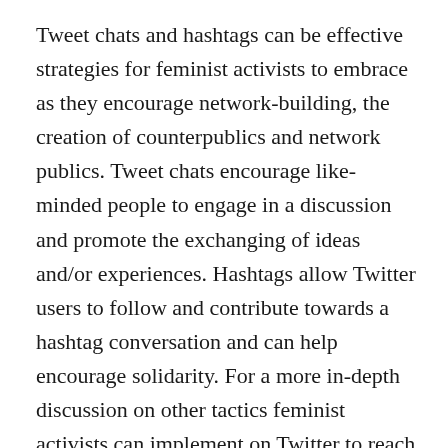Tweet chats and hashtags can be effective strategies for feminist activists to embrace as they encourage network-building, the creation of counterpublics and network publics. Tweet chats encourage like-minded people to engage in a discussion and promote the exchanging of ideas and/or experiences. Hashtags allow Twitter users to follow and contribute towards a hashtag conversation and can help encourage solidarity. For a more in-depth discussion on other tactics feminist activists can implement on Twitter to reach their goals, see my blog 10 ways to make the most of Twitter as a feminist activist.
Asking questions on social media is a further tactic often employed by feminist activists. Questions can be an effective tactic on social media as they can foster engagement, encourage discussion and participation, and promote knowledge and experience sharing. Below are two examples of questions Point of View asked users during their